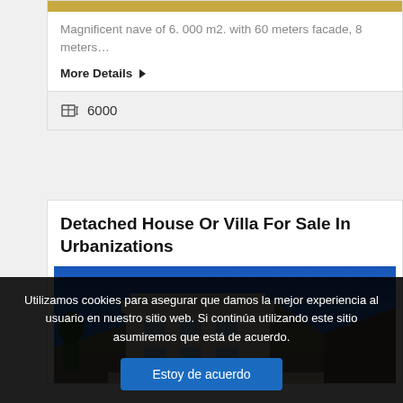Magnificent nave of 6. 000 m2. with 60 meters facade, 8 meters…
More Details ▶
6000
Detached House Or Villa For Sale In Urbanizations
[Figure (photo): Exterior photo of a white villa/house with a mountain backdrop under a bright blue sky]
Utilizamos cookies para asegurar que damos la mejor experiencia al usuario en nuestro sitio web. Si continúa utilizando este sitio asumiremos que está de acuerdo.
Estoy de acuerdo